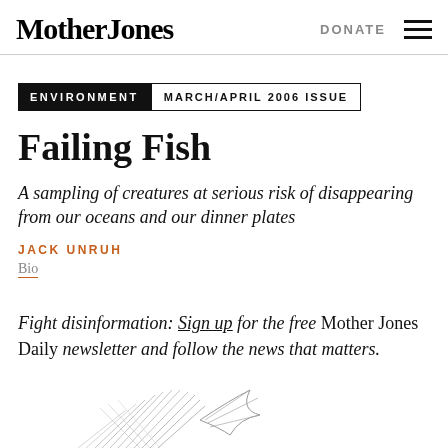Mother Jones | DONATE
ENVIRONMENT  MARCH/APRIL 2006 ISSUE
Failing Fish
A sampling of creatures at serious risk of disappearing from our oceans and our dinner plates
JACK UNRUH
Bio
Fight disinformation: Sign up for the free Mother Jones Daily newsletter and follow the news that matters.
[Figure (illustration): Partial illustration of a fish at the bottom of the page]